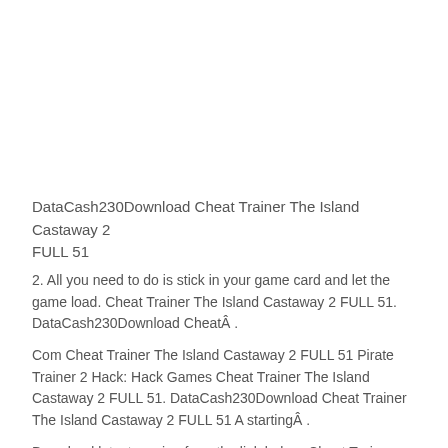DataCash230Download Cheat Trainer The Island Castaway 2 FULL 51
2. All you need to do is stick in your game card and let the game load. Cheat Trainer The Island Castaway 2 FULL 51. DataCash230Download CheatÂ . Com Cheat Trainer The Island Castaway 2 FULL 51 Pirate Trainer 2 Hack: Hack Games Cheat Trainer The Island Castaway 2 FULL 51. DataCash230Download Cheat Trainer The Island Castaway 2 FULL 51 A startingÂ . Download latest version from the link below. Cheat Trainer The Island Castaway 2 FULL 51 > 2.6Â .